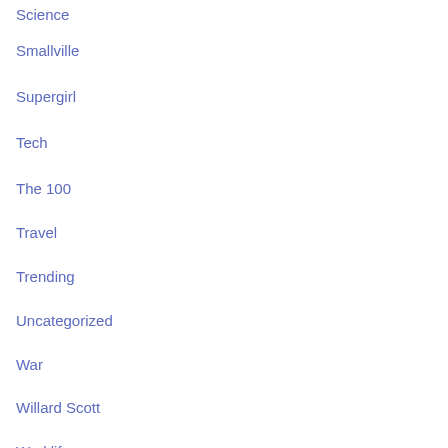Science
Smallville
Supergirl
Tech
The 100
Travel
Trending
Uncategorized
War
Willard Scott
Worklife
Meta
Log in